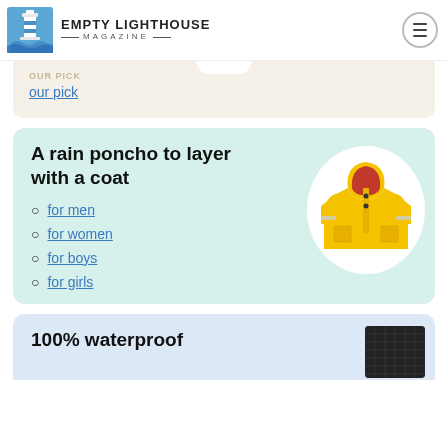EMPTY LIGHTHOUSE MAGAZINE
our pick
A rain poncho to layer with a coat
for men
for women
for boys
for girls
[Figure (photo): Yellow children's rain jacket/poncho on white oval background]
100% waterproof